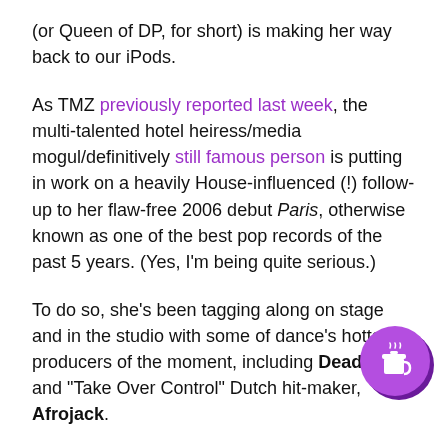(or Queen of DP, for short) is making her way back to our iPods.
As TMZ previously reported last week, the multi-talented hotel heiress/media mogul/definitively still famous person is putting in work on a heavily House-influenced (!) follow-up to her flaw-free 2006 debut Paris, otherwise known as one of the best pop records of the past 5 years. (Yes, I'm being quite serious.)
To do so, she's been tagging along on stage and in the studio with some of dance's hottest producers of the moment, including Deadmau5 and "Take Over Control" Dutch hit-maker, Afrojack.
Now, the fruits of her labor have begun to seeping